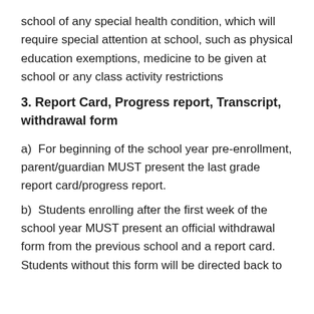school of any special health condition, which will require special attention at school, such as physical education exemptions, medicine to be given at school or any class activity restrictions
3. Report Card, Progress report, Transcript, withdrawal form
a)  For beginning of the school year pre-enrollment, parent/guardian MUST present the last grade report card/progress report.
b)  Students enrolling after the first week of the school year MUST present an official withdrawal form from the previous school and a report card. Students without this form will be directed back to